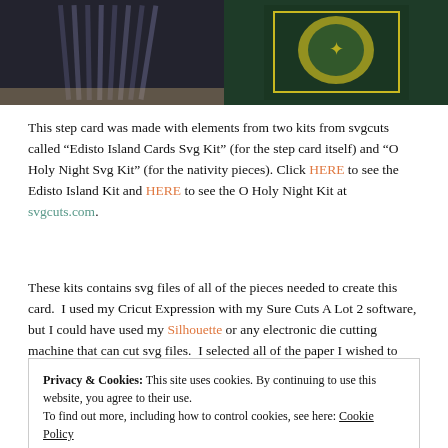[Figure (photo): Left photo: dark folded step card with accordion-style layers in dark navy/black paper]
[Figure (photo): Right photo: dark green card with yellow nativity scene graphic on cover]
This step card was made with elements from two kits from svgcuts called “Edisto Island Cards Svg Kit” (for the step card itself) and “O Holy Night Svg Kit” (for the nativity pieces). Click HERE to see the Edisto Island Kit and HERE to see the O Holy Night Kit at svgcuts.com.
These kits contains svg files of all of the pieces needed to create this card.  I used my Cricut Expression with my Sure Cuts A Lot 2 software, but I could have used my Silhouette or any electronic die cutting machine that can cut svg files.  I selected all of the paper I wished to
Privacy & Cookies: This site uses cookies. By continuing to use this website, you agree to their use.
To find out more, including how to control cookies, see here: Cookie Policy
I am entering this card in the Mod Squad – Word Challenge – Holiday